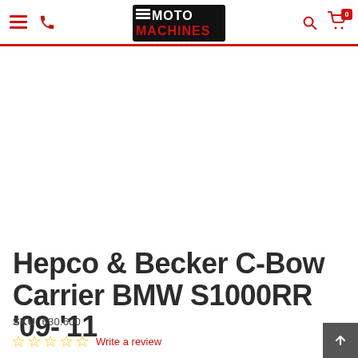Moto Machines — navigation header with hamburger menu, phone icon, logo, search icon, and cart (0 items)
[Figure (photo): White product image area (product not loaded / blank)]
Hepco & Becker C-Bow Carrier BMW S1000RR '09-'11
SKU: 630.600
☆ ☆ ☆ ☆ ☆ Write a review